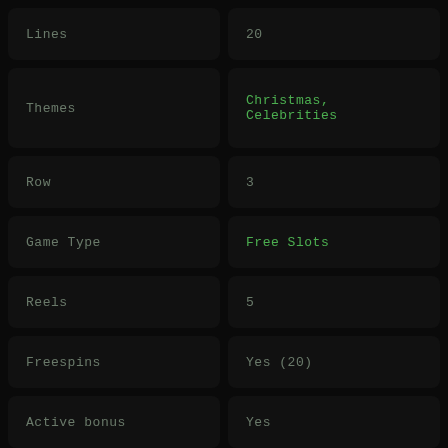| Property | Value |
| --- | --- |
| Lines | 20 |
| Themes | Christmas, Celebrities |
| Row | 3 |
| Game Type | Free Slots |
| Reels | 5 |
| Freespins | Yes (20) |
| Active bonus | Yes |
| Automatic bonus | Yes |